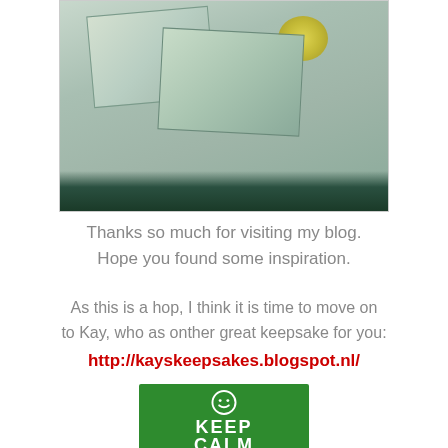[Figure (photo): A craft exploding box/card made with green and yellow floral decorations, opened flat showing multiple panels, photographed on a light surface.]
Thanks so much for visiting my blog. Hope you found some inspiration.
As this is a hop, I think it is time to move on to Kay, who as onther great keepsake for you: http://kayskeepsakes.blogspot.nl/
[Figure (logo): Green 'Keep Calm' style poster with smiley face, white text reading KEEP CALM]